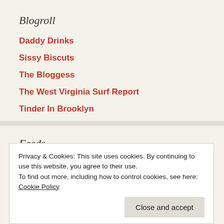Blogroll
Daddy Drinks
Sissy Biscuts
The Bloggess
The West Virginia Surf Report
Tinder In Brooklyn
Feeds
Privacy & Cookies: This site uses cookies. By continuing to use this website, you agree to their use.
To find out more, including how to control cookies, see here: Cookie Policy
Close and accept